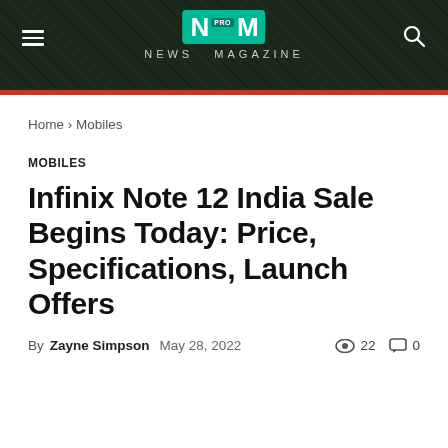NM PRO NEWS MAGAZINE
Home › Mobiles
MOBILES
Infinix Note 12 India Sale Begins Today: Price, Specifications, Launch Offers
By Zayne Simpson  May 28, 2022  👁 22  💬 0